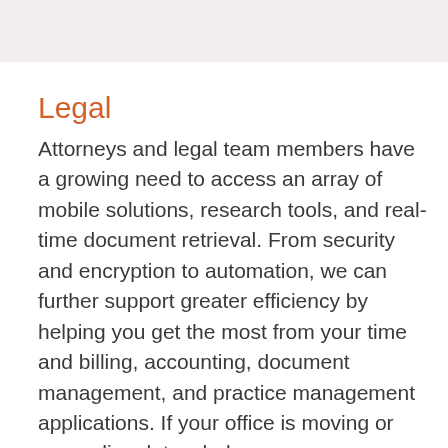Legal
Attorneys and legal team members have a growing need to access an array of mobile solutions, research tools, and real-time document retrieval. From security and encryption to automation, we can further support greater efficiency by helping you get the most from your time and billing, accounting, document management, and practice management applications. If your office is moving or expanding, let us help